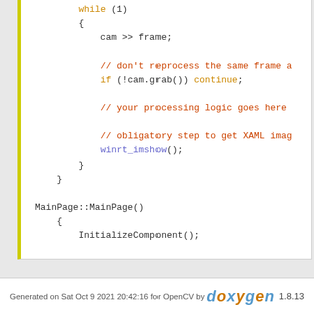[Figure (screenshot): Code snippet showing C++ OpenCV WinRT code with while loop, cam >> frame, grab check, processing comment, winrt_imshow(), closing braces, and MainPage::MainPage() constructor with InitializeComponent(), cv::winrt_setFrameContainer(cvImage), cv::winrt_startMessageLoop(cvMain)]
Generated on Sat Oct 9 2021 20:42:16 for OpenCV by doxygen 1.8.13